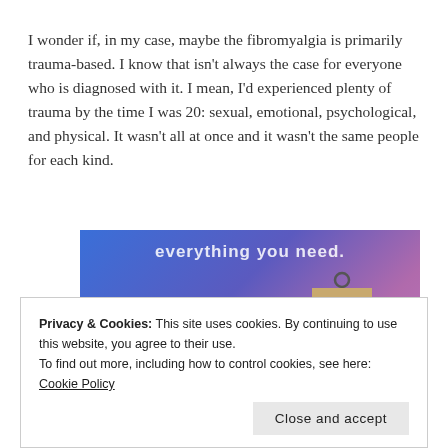I wonder if, in my case, maybe the fibromyalgia is primarily trauma-based. I know that isn't always the case for everyone who is diagnosed with it. I mean, I'd experienced plenty of trauma by the time I was 20: sexual, emotional, psychological, and physical. It wasn't all at once and it wasn't the same people for each kind.
[Figure (other): Website advertisement banner with blue-purple gradient background, 'everything you need.' text at top, a pink 'Build Your Website' button on the left, and a tan/beige price tag on the right.]
Privacy & Cookies: This site uses cookies. By continuing to use this website, you agree to their use.
To find out more, including how to control cookies, see here: Cookie Policy
Close and accept